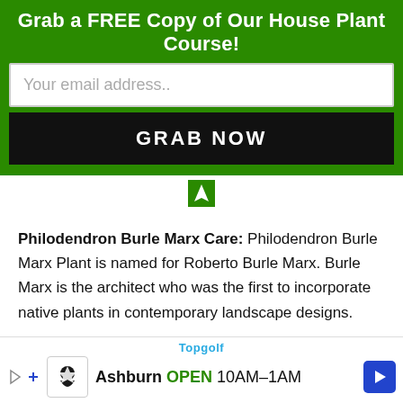Grab a FREE Copy of Our House Plant Course!
Your email address..
GRAB NOW
[Figure (other): Small green plant/arrow icon pointing upward]
Philodendron Burle Marx Care: Philodendron Burle Marx Plant is named for Roberto Burle Marx. Burle Marx is the architect who was the first to incorporate native plants in contemporary landscape designs.
[Figure (other): Topgolf advertisement banner showing Ashburn location open 10AM-1AM]